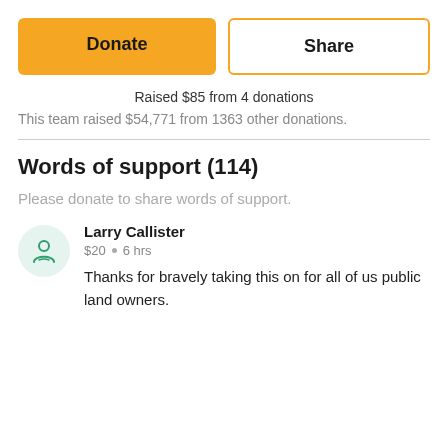Donate
Share
Raised $85 from 4 donations
This team raised $54,771 from 1363 other donations.
Words of support (114)
Please donate to share words of support.
Larry Callister
$20  •  6 hrs
Thanks for bravely taking this on for all of us public land owners.